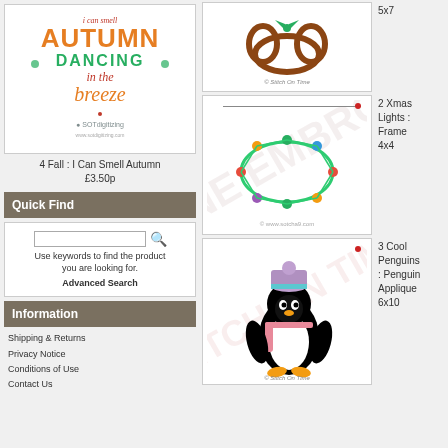[Figure (illustration): Autumn embroidery design with text 'I can smell AUTUMN DANCING in the breeze' in orange, red, and green]
4 Fall : I Can Smell Autumn
£3.50p
Quick Find
Use keywords to find the product you are looking for.
Advanced Search
Information
Shipping & Returns
Privacy Notice
Conditions of Use
Contact Us
[Figure (illustration): Brown pretzel or decorative shape embroidery design with green bow, © Stitch On Time]
5x7
[Figure (illustration): Christmas lights frame embroidery design - oval frame made of colorful lights, watermarked]
2 Xmas Lights : Frame 4x4
[Figure (illustration): Cool penguin with winter hat and scarf applique embroidery design, © Stitch On Time]
3 Cool Penguins : Penguin Applique 6x10